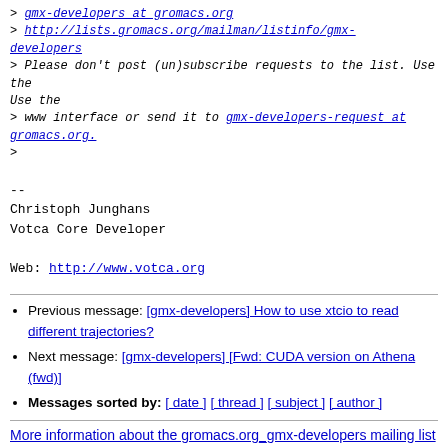> gmx-developers at gromacs.org
> http://lists.gromacs.org/mailman/listinfo/gmx-developers
> Please don't post (un)subscribe requests to the list. Use the
> www interface or send it to gmx-developers-request at gromacs.org.
>
--
Christoph Junghans
Votca Core Developer

Web: http://www.votca.org
Previous message: [gmx-developers] How to use xtcio to read different trajectories?
Next message: [gmx-developers] [Fwd: CUDA version on Athena (fwd)]
Messages sorted by: [ date ] [ thread ] [ subject ] [ author ]
More information about the gromacs.org_gmx-developers mailing list